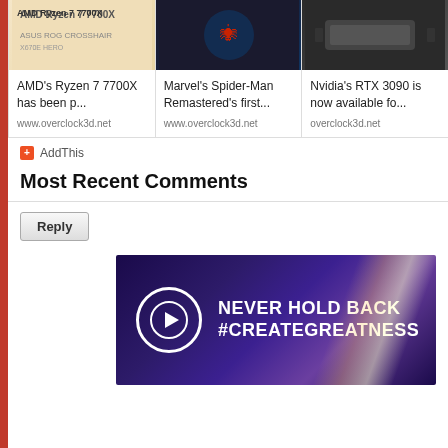[Figure (screenshot): Three article cards: AMD Ryzen 7 7700X, Marvel's Spider-Man Remastered, Nvidia's RTX 3090]
AMD's Ryzen 7 7700X has been p...
www.overclock3d.net
Marvel's Spider-Man Remastered's first...
www.overclock3d.net
Nvidia's RTX 3090 is now available fo...
overclock3d.net
AddThis
Most Recent Comments
Reply
[Figure (photo): Advertisement banner: NEVER HOLD BACK #CREATEGREATNESS with Elgato logo]